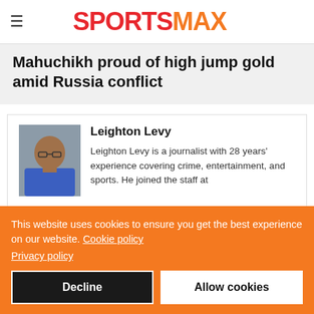SPORTSMAX
Mahuchikh proud of high jump gold amid Russia conflict
Leighton Levy
Leighton Levy is a journalist with 28 years' experience covering crime, entertainment, and sports. He joined the staff at
This website uses cookies to ensure you get the best experience on our website. Cookie policy Privacy policy
Decline
Allow cookies